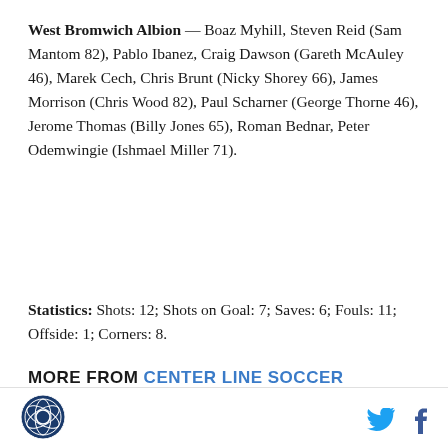West Bromwich Albion — Boaz Myhill, Steven Reid (Sam Mantom 82), Pablo Ibanez, Craig Dawson (Gareth McAuley 46), Marek Cech, Chris Brunt (Nicky Shorey 66), James Morrison (Chris Wood 82), Paul Scharner (George Thorne 46), Jerome Thomas (Billy Jones 65), Roman Bednar, Peter Odemwingie (Ishmael Miller 71).
Statistics: Shots: 12; Shots on Goal: 7; Saves: 6; Fouls: 11; Offside: 1; Corners: 8.
MORE FROM CENTER LINE SOCCER
Real Salt Lake vs. San Jose Earthquakes: Three